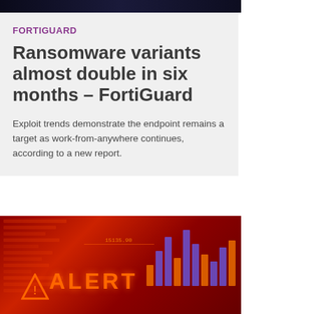[Figure (photo): Dark cybersecurity-themed banner image at the top]
FORTIGUARD
Ransomware variants almost double in six months – FortiGuard
Exploit trends demonstrate the endpoint remains a target as work-from-anywhere continues, according to a new report.
[Figure (photo): Dark red cybersecurity alert image showing 'ALERT' text with warning triangle, code overlays, and bar graphs on a red background]